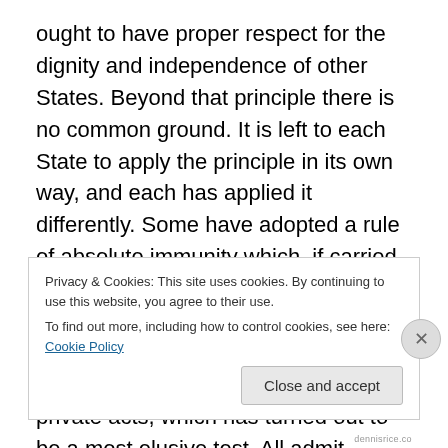ought to have proper respect for the dignity and independence of other States. Beyond that principle there is no common ground. It is left to each State to apply the principle in its own way, and each has applied it differently. Some have adopted a rule of absolute immunity which, if carried to its logical extreme, is in danger of becoming an instrument of injustice. Others have adopted a rule of immunity for public acts but not for private acts, which has turned out to be a most elusive test. All admit exceptions. There is no uniform practice. There is no uniform rule. So there is no help there.
Privacy & Cookies: This site uses cookies. By continuing to use this website, you agree to their use. To find out more, including how to control cookies, see here: Cookie Policy